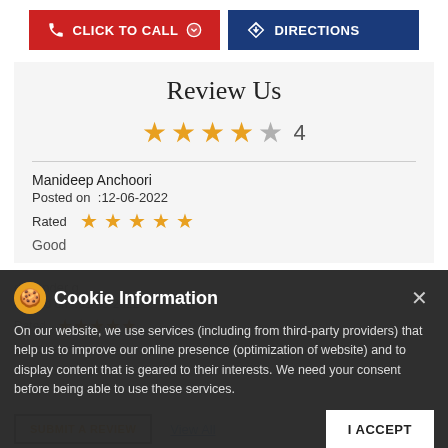[Figure (screenshot): Two call-to-action buttons: red CLICK TO CALL button with phone icon, and dark blue DIRECTIONS button with navigation icon]
Review Us
[Figure (other): 4 out of 5 stars rating display with number 4]
Manideep Anchoori
Posted on  :12-06-2022
Rated  ★★★★★
Good
devender g
Posted on  :01-05-2022
Rated  ★★★★★
good service
[Figure (screenshot): Cookie consent popup with cookie icon, title 'Cookie Information', body text about third-party services, and an I ACCEPT button]
On our website, we use services (including from third-party providers) that help us to improve our online presence (optimization of website) and to display content that is geared to their interests. We need your consent before being able to use these services.
SUBMIT A REVIEW
View All